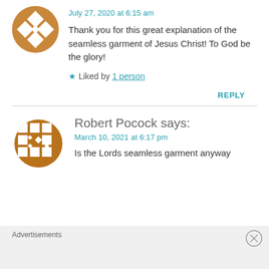[Figure (illustration): Orange circular avatar with white diamond/cross pattern, first commenter]
July 27, 2020 at 6:15 am
Thank you for this great explanation of the seamless garment of Jesus Christ! To God be the glory!
★ Liked by 1 person
REPLY
[Figure (illustration): Orange circular avatar with white grid/checkerboard pattern, Robert Pocock]
Robert Pocock says:
March 10, 2021 at 6:17 pm
Is the Lords seamless garment anyway
Advertisements